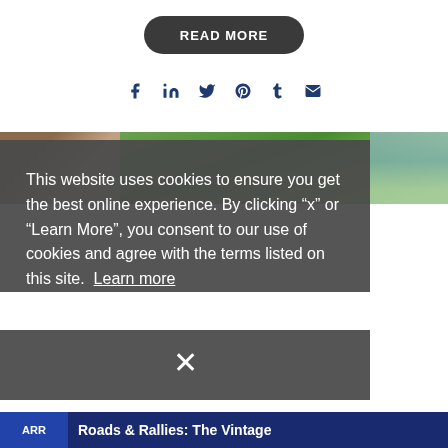[Figure (other): READ MORE button with dark rounded rectangle background]
[Figure (other): Social media icons: Facebook, LinkedIn, Twitter, Pinterest, Tumblr, Email in dark navy blue]
[Figure (photo): Partial outdoor photo showing building on left and green hillside/landscape on right]
This website uses cookies to ensure you get the best online experience. By clicking “x” or “Learn More”, you consent to our use of cookies and agree with the terms listed on this site. Learn more
[Figure (other): Close X button (dismiss cookie notice)]
Roads & Rallies: The Vintage